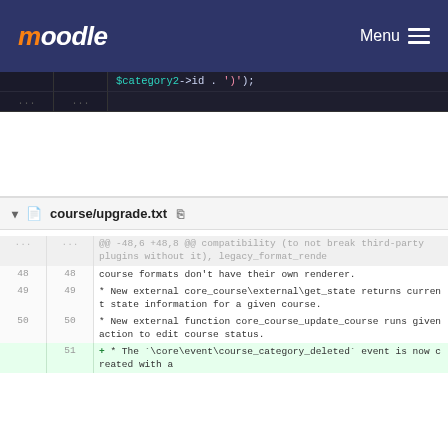[Figure (screenshot): Moodle navigation bar with orange italic logo and hamburger Menu button on dark navy background]
$category2->id . ')');
... ...
course/upgrade.txt
| old | new | code |
| --- | --- | --- |
| ... | ... | @@ -48,6 +48,8 @@ compatibility (to not break third-party plugins without it), legacy_format_rende |
| 48 | 48 | course formats don't have their own renderer. |
| 49 | 49 | * New external core_course\external\get_state returns current state information for a given course. |
| 50 | 50 | * New external function core_course_update_course runs given action to edit course status. |
|  | 51 | + * The `\core\event\course_category_deleted` event is now created with a |